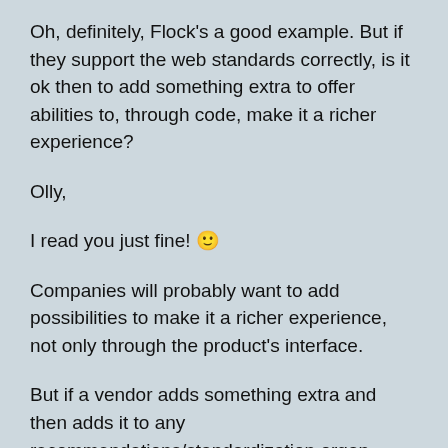Oh, definitely, Flock's a good example. But if they support the web standards correctly, is it ok then to add something extra to offer abilities to, through code, make it a richer experience?
Olly,
I read you just fine! 🙂
Companies will probably want to add possibilities to make it a richer experience, not only through the product's interface.
But if a vendor adds something extra and then adds it to any recommendations/standardization organ, there will still be an interim period before it has been added and then before everyone else has implemented in their products.
So, still kind of back to how it was before…